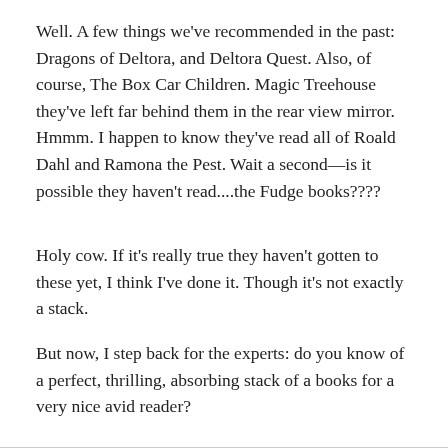Well. A few things we've recommended in the past: Dragons of Deltora, and Deltora Quest. Also, of course, The Box Car Children. Magic Treehouse they've left far behind them in the rear view mirror. Hmmm. I happen to know they've read all of Roald Dahl and Ramona the Pest. Wait a second—is it possible they haven't read....the Fudge books????
Holy cow. If it's really true they haven't gotten to these yet, I think I've done it. Though it's not exactly a stack.
But now, I step back for the experts: do you know of a perfect, thrilling, absorbing stack of a books for a very nice avid reader?